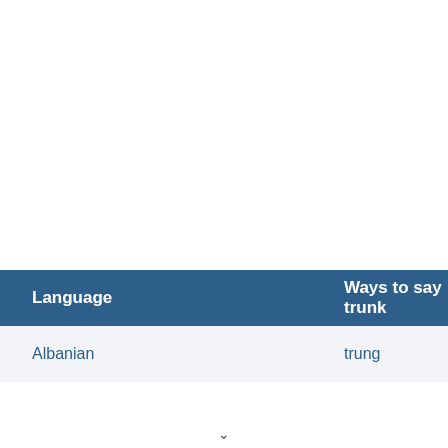| Language | Ways to say trunk |
| --- | --- |
| Albanian | trung |
[Figure (other): Scroll-up circular button with chevron-up icon, share circular button with share icon, and edit/pencil icon — UI overlay buttons on right side of screen]